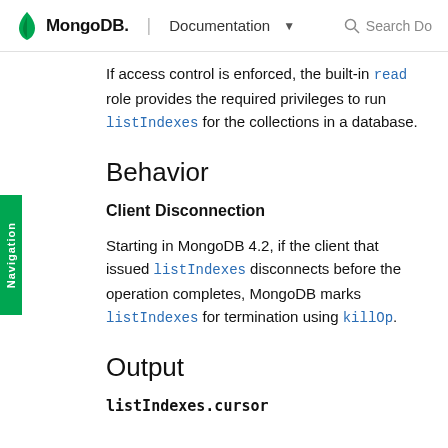MongoDB. | Documentation
If access control is enforced, the built-in read role provides the required privileges to run listIndexes for the collections in a database.
Behavior
Client Disconnection
Starting in MongoDB 4.2, if the client that issued listIndexes disconnects before the operation completes, MongoDB marks listIndexes for termination using killOp.
Output
listIndexes.cursor